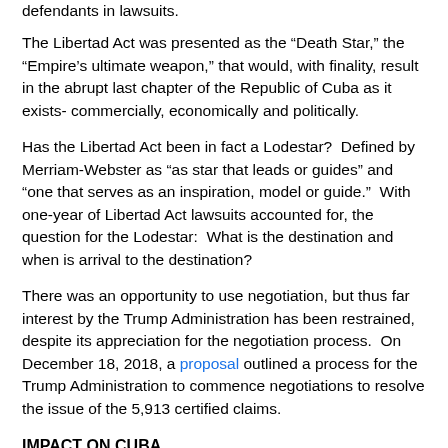defendants in lawsuits.
The Libertad Act was presented as the “Death Star,” the “Empire’s ultimate weapon,” that would, with finality, result in the abrupt last chapter of the Republic of Cuba as it exists- commercially, economically and politically.
Has the Libertad Act been in fact a Lodestar?  Defined by Merriam-Webster as “as star that leads or guides” and “one that serves as an inspiration, model or guide.”  With one-year of Libertad Act lawsuits accounted for, the question for the Lodestar:  What is the destination and when is arrival to the destination?
There was an opportunity to use negotiation, but thus far interest by the Trump Administration has been restrained, despite its appreciation for the negotiation process.  On December 18, 2018, a proposal outlined a process for the Trump Administration to commence negotiations to resolve the issue of the 5,913 certified claims.
IMPACT ON CUBA
Libertad Act lawsuits have been corrosive for the Republic of Cuba.  There are companies who have chosen to freeze or abandon their interests in the Republic of Cuba.  Law firms are recommending to their clients that any focus upon